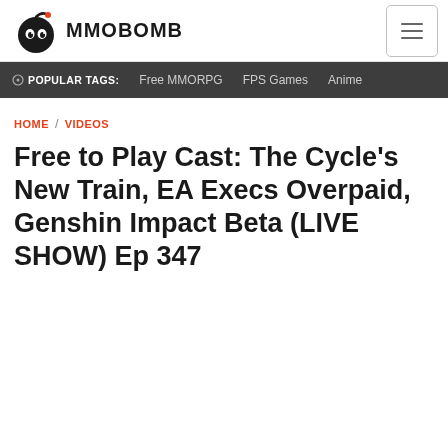MMOBOMB
POPULAR TAGS: Free MMORPG  FPS Games  Anime
HOME / VIDEOS
Free to Play Cast: The Cycle's New Train, EA Execs Overpaid, Genshin Impact Beta (LIVE SHOW) Ep 347